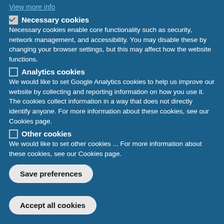View more info
✓ Necessary cookies
Necessary cookies enable core functionality such as security, network management, and accessibility. You may disable these by changing your browser settings, but this may affect how the website functions.
☐ Analytics cookies
We would like to set Google Analytics cookies to help us improve our website by collecting and reporting information on how you use it. The cookies collect information in a way that does not directly identify anyone. For more information about these cookies, see our Cookies page.
☐ Other cookies
We would like to set other cookies ... For more information about these cookies, see our Cookies page.
Save preferences
Accept all cookies